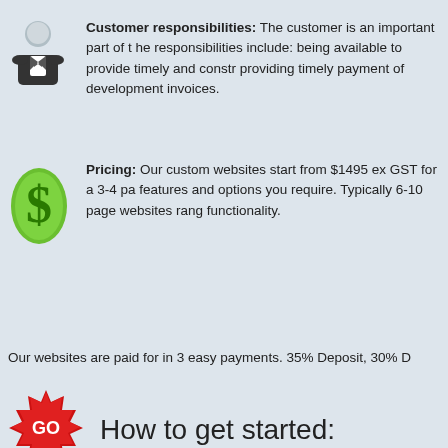Customer responsibilities: The customer is an important part of the... responsibilities include: being available to provide timely and constructive... providing timely payment of development invoices.
Pricing: Our custom websites start from $1495 ex GST for a 3-4 pa... features and options you require. Typically 6-10 page websites rang... functionality.
Our websites are paid for in 3 easy payments. 35% Deposit, 30% D...
How to get started:
Call us: 1300 307 390
Email us: info@abpages.com
Launch Proposal Planner